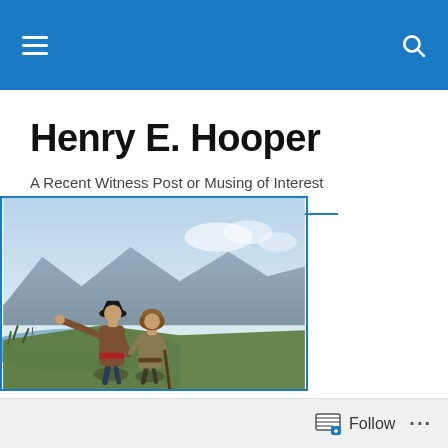Henry E. Hooper — navigation bar with hamburger menu and search icon
Henry E. Hooper
A Recent Witness Post or Musing of Interest
[Figure (illustration): Painting of two historical explorers, one pointing into the distance, set against a mountainous landscape with water]
Birds: Kiwi
Follow ...